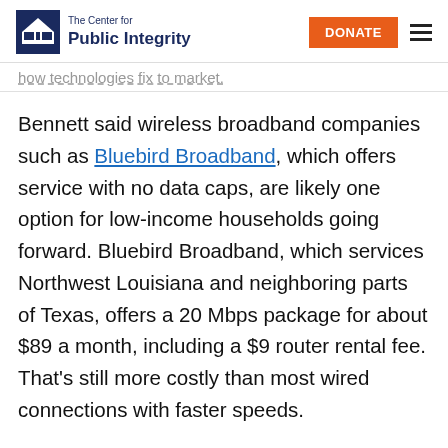The Center for Public Integrity | DONATE
how technologies fix to market.
Bennett said wireless broadband companies such as Bluebird Broadband, which offers service with no data caps, are likely one option for low-income households going forward. Bluebird Broadband, which services Northwest Louisiana and neighboring parts of Texas, offers a 20 Mbps package for about $89 a month, including a $9 router rental fee. That's still more costly than most wired connections with faster speeds.
In Virginia, Last Mile Broadband LLC has begun to deploy an advanced wireless LTE technology to